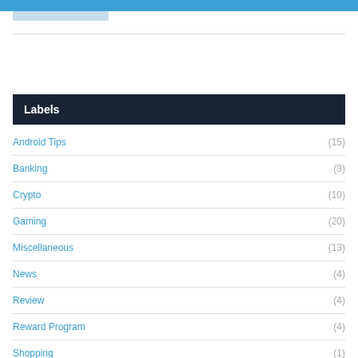Labels
Android Tips (15)
Banking (3)
Crypto (10)
Gaming (20)
Miscellaneous (13)
News (4)
Review (4)
Reward Program (4)
Shopping (1)